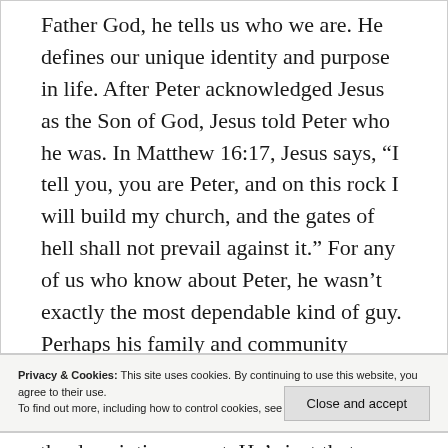Father God, he tells us who we are. He defines our unique identity and purpose in life. After Peter acknowledged Jesus as the Son of God, Jesus told Peter who he was. In Matthew 16:17, Jesus says, “I tell you, you are Peter, and on this rock I will build my church, and the gates of hell shall not prevail against it.” For any of us who know about Peter, he wasn’t exactly the most dependable kind of guy. Perhaps his family and community thought of him as flaky and unpredictable. Jesus, however, saw something in Peter that he probably did not even see in himself: a solid rock on which to build his
Privacy & Cookies: This site uses cookies. By continuing to use this website, you agree to their use.
To find out more, including how to control cookies, see here: Cookie Policy
Close and accept
the description or not. He’s just that good!